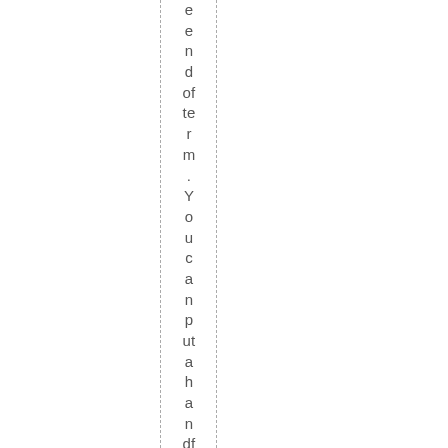end of term. You can put a handful in a little cello